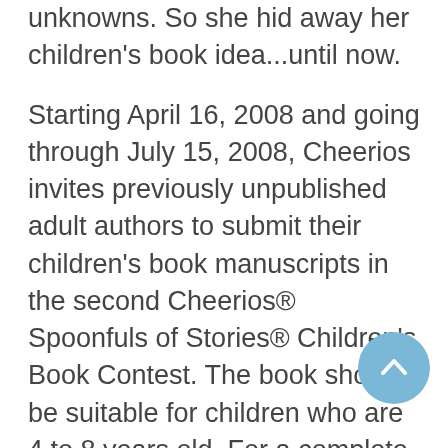unknowns. So she hid away her children's book idea...until now.
Starting April 16, 2008 and going through July 15, 2008, Cheerios invites previously unpublished adult authors to submit their children's book manuscripts in the second Cheerios® Spoonfuls of Stories® Children's Book Contest. The book should be suitable for children who are 4 to 8 years old. For a complete list of rules and to submit an entry online, go to www.SpoonfulsofStoriesContest.com. Cheerios will provide cash prizes to up to three winners, and the top winner will have their book evaluated by Simon & Schuster Children's Publishing for potential publication. And...